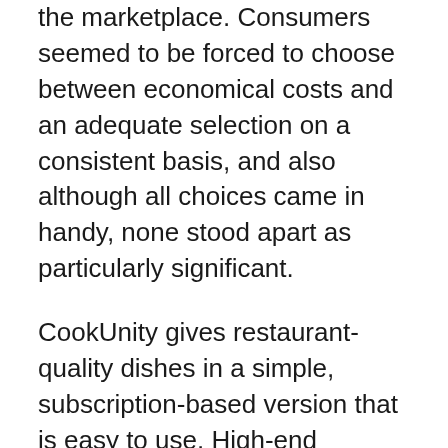the marketplace. Consumers seemed to be forced to choose between economical costs and an adequate selection on a consistent basis, and also although all choices came in handy, none stood apart as particularly significant.
CookUnity gives restaurant-quality dishes in a simple, subscription-based version that is easy to use. High-end specials are available at a small cost thanks to the solution, which attaches expert chefs with everyday customers. CookUnity promotes itself as being a chef-driven facility, offering customized dishes that vary once a week and also are produced fresh using products bought from local as well as sustainable